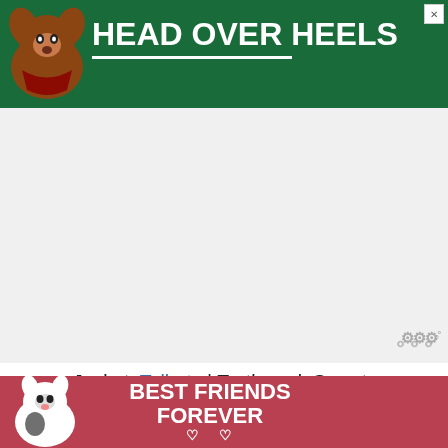[Figure (photo): Green advertisement banner with a dog image and text 'HEAD OVER HEELS' in white bold letters with white underline, close X button top right]
Jacket: Talbots | Turtleneck Sweater: Calvin Klein | Jeans: PacSun | Rainboots: Tommy Hilfiger | Purse: Dunne London | Gloves: | Earrings: TJMaxx (similar here)
Happy holidays!
xo,
[Figure (photo): Pink/red advertisement banner with two cats and text 'BEST FRIENDS FOREVER' in white bold letters]